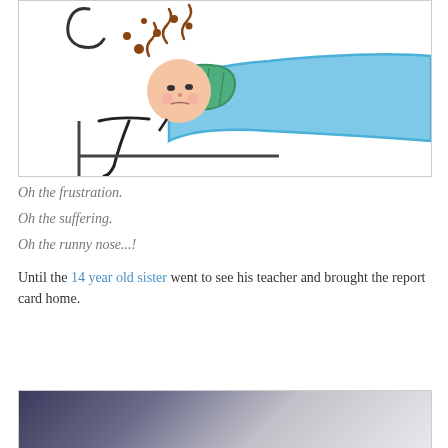[Figure (illustration): A stick figure child lying in bed sick, covered with a light blue blanket, with a green pillow. Brown curly lines and dots above the head suggest sneezing or illness. The child appears to have rosy cheeks.]
Oh the frustration.
Oh the suffering.
Oh the runny nose...!
Until the 14 year old sister went to see his teacher and brought the report card home.
[Figure (photo): Bottom portion of an image with a dark blue-grey to light grey gradient, partially visible at the bottom of the page.]